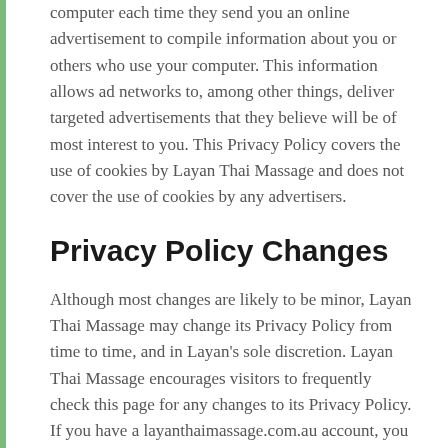computer each time they send you an online advertisement to compile information about you or others who use your computer. This information allows ad networks to, among other things, deliver targeted advertisements that they believe will be of most interest to you. This Privacy Policy covers the use of cookies by Layan Thai Massage and does not cover the use of cookies by any advertisers.
Privacy Policy Changes
Although most changes are likely to be minor, Layan Thai Massage may change its Privacy Policy from time to time, and in Layan's sole discretion. Layan Thai Massage encourages visitors to frequently check this page for any changes to its Privacy Policy. If you have a layanthaimassage.com.au account, you might also receive an alert informing you of these changes. Your continued use of this site after any change in this Privacy Policy will constitute your acceptance of such change.